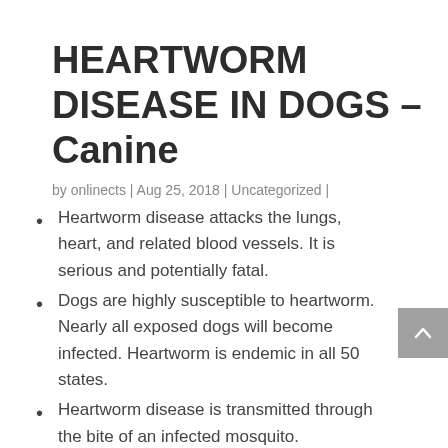HEARTWORM DISEASE IN DOGS – Canine
by onlinects | Aug 25, 2018 | Uncategorized |
Heartworm disease attacks the lungs, heart, and related blood vessels. It is serious and potentially fatal.
Dogs are highly susceptible to heartworm. Nearly all exposed dogs will become infected. Heartworm is endemic in all 50 states.
Heartworm disease is transmitted through the bite of an infected mosquito.
Treatment can be costly and complicated.
Illness is easily and effectively avoided by